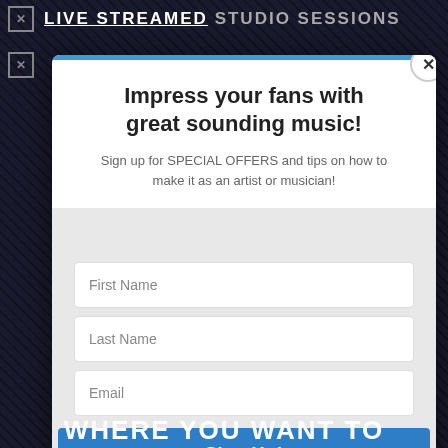LIVE STREAMED STUDIO SESSIONS
Impress your fans with great sounding music!
Sign up for SPECIAL OFFERS and tips on how to make it as an artist or musician!
First Name
Last Name
Email
Sign Up!
WHERE YOU WANT TO